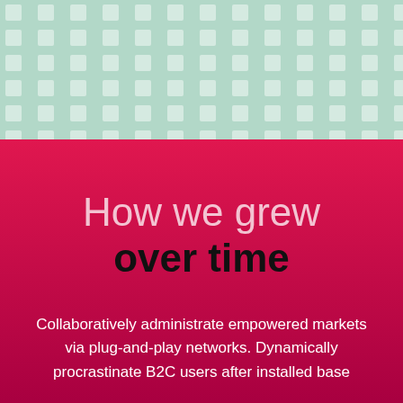[Figure (illustration): Teal/mint green background with a repeating grid pattern of lighter rounded squares forming a polka-dot/grid decorative pattern at the top of the page.]
How we grew over time
Collaboratively administrate empowered markets via plug-and-play networks. Dynamically procrastinate B2C users after installed base